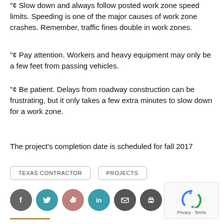"¢ Slow down and always follow posted work zone speed limits. Speeding is one of the major causes of work zone crashes. Remember, traffic fines double in work zones.
"¢ Pay attention. Workers and heavy equipment may only be a few feet from passing vehicles.
"¢ Be patient. Delays from roadway construction can be frustrating, but it only takes a few extra minutes to slow down for a work zone.
The project's completion date is scheduled for fall 2017
TEXAS CONTRACTOR   PROJECTS
[Figure (infographic): Row of 6 social sharing icon circles: Facebook (dark gray), Twitter (teal), Reddit (muted red/salmon), LinkedIn (teal), Email (dark gray), Print (dark gray)]
Related Articles